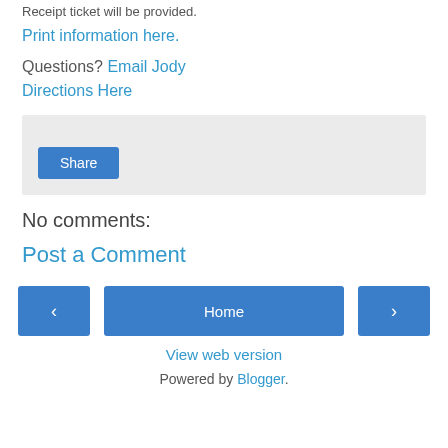Receipt ticket will be provided.
Print information here.
Questions? Email Jody
Directions Here
[Figure (other): Share button widget area with light gray background]
No comments:
Post a Comment
< Home >
View web version
Powered by Blogger.